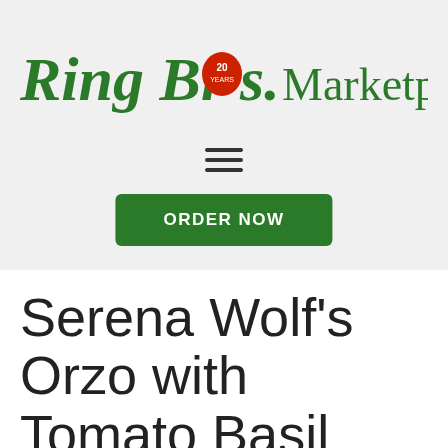[Figure (logo): Ring Bros. Marketplace logo with green serif script text and a red apple badge with '20 YEARS' text]
[Figure (other): Hamburger menu icon — three horizontal green/dark bars]
[Figure (other): Green 'ORDER NOW' button]
Serena Wolf's Orzo with Tomato Basil Sauce, Zucchini &